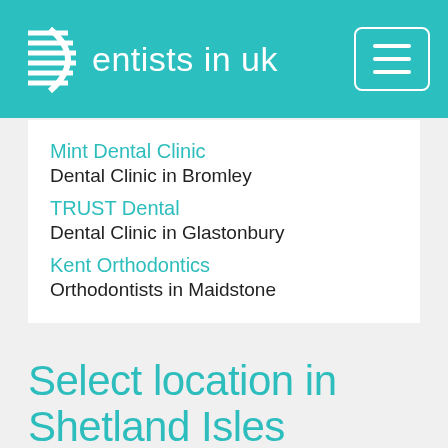Dentists in UK
Mint Dental Clinic
Dental Clinic in Bromley
TRUST Dental
Dental Clinic in Glastonbury
Kent Orthodontics
Orthodontists in Maidstone
Select location in Shetland Isles